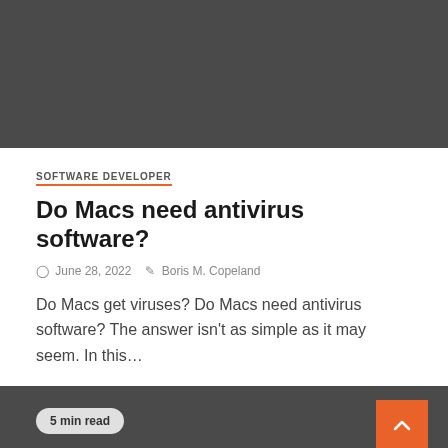[Figure (photo): Dark gray image placeholder at top of article card]
SOFTWARE DEVELOPER
Do Macs need antivirus software?
June 28, 2022   Boris M. Copeland
Do Macs get viruses? Do Macs need antivirus software? The answer isn't as simple as it may seem. In this…
5 min read